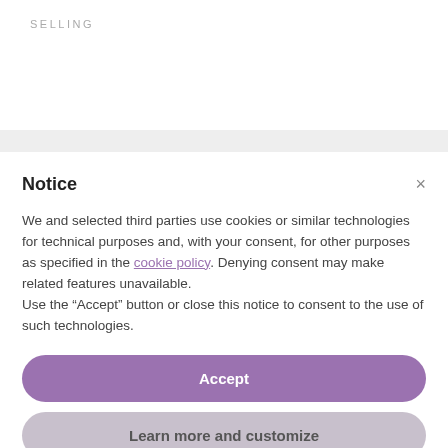SELLING
Notice
We and selected third parties use cookies or similar technologies for technical purposes and, with your consent, for other purposes as specified in the cookie policy. Denying consent may make related features unavailable.
Use the “Accept” button or close this notice to consent to the use of such technologies.
Accept
Learn more and customize